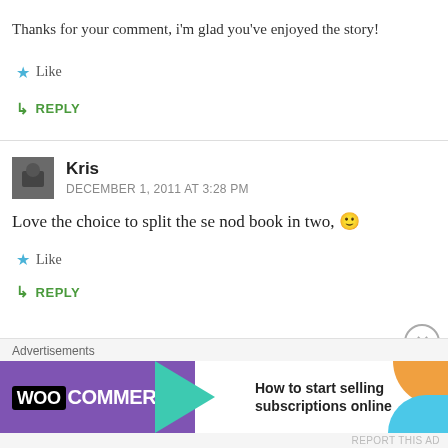Thanks for your comment, i'm glad you've enjoyed the story!
★ Like
↳ REPLY
Kris
DECEMBER 1, 2011 AT 3:28 PM
Love the choice to split the se nod book in two, 🙂
★ Like
↳ REPLY
Advertisements
[Figure (screenshot): WooCommerce advertisement banner with logo on purple background and text 'How to start selling subscriptions online']